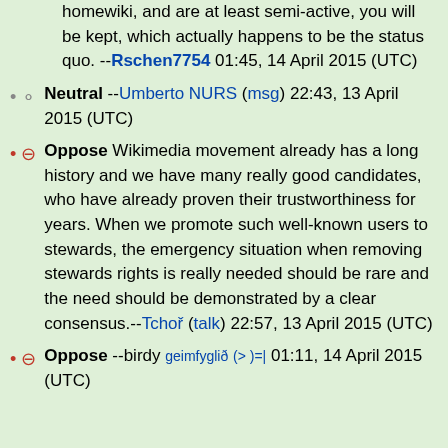homewiki, and are at least semi-active, you will be kept, which actually happens to be the status quo. --Rschen7754 01:45, 14 April 2015 (UTC)
Neutral --Umberto NURS (msg) 22:43, 13 April 2015 (UTC)
Oppose Wikimedia movement already has a long history and we have many really good candidates, who have already proven their trustworthiness for years. When we promote such well-known users to stewards, the emergency situation when removing stewards rights is really needed should be rare and the need should be demonstrated by a clear consensus.--Tchoř (talk) 22:57, 13 April 2015 (UTC)
Oppose --birdy geimfyglið (> )=| 01:11, 14 April 2015 (UTC)